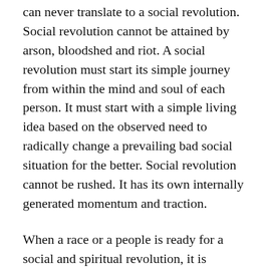can never translate to a social revolution. Social revolution cannot be attained by arson, bloodshed and riot. A social revolution must start its simple journey from within the mind and soul of each person. It must start with a simple living idea based on the observed need to radically change a prevailing bad social situation for the better. Social revolution cannot be rushed. It has its own internally generated momentum and traction.
When a race or a people is ready for a social and spiritual revolution, it is heaven that raises up men and women to articulate the idea and to canvass it to the team that